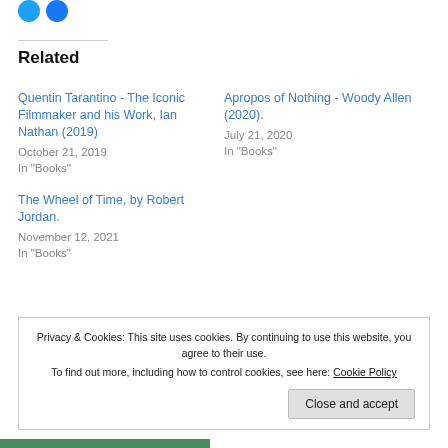[Figure (other): Two social media icon circles (Twitter blue and Facebook blue) at top left]
Related
Quentin Tarantino - The Iconic Filmmaker and his Work, Ian Nathan (2019)
October 21, 2019
In "Books"
Apropos of Nothing - Woody Allen (2020).
July 21, 2020
In "Books"
The Wheel of Time, by Robert Jordan.
November 12, 2021
In "Books"
Privacy & Cookies: This site uses cookies. By continuing to use this website, you agree to their use.
To find out more, including how to control cookies, see here: Cookie Policy
Close and accept